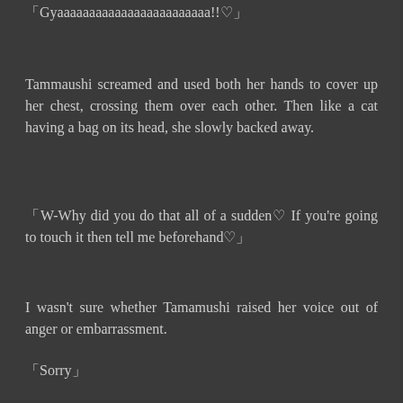「Gyaaaaaaaaaaaaaaaaaaaaaaaa!!♡」
Tammaushi screamed and used both her hands to cover up her chest, crossing them over each other. Then like a cat having a bag on its head, she slowly backed away.
「W-Why did you do that all of a sudden♡ If you're going to touch it then tell me beforehand♡」
I wasn't sure whether Tamamushi raised her voice out of anger or embarrassment.
「Sorry」